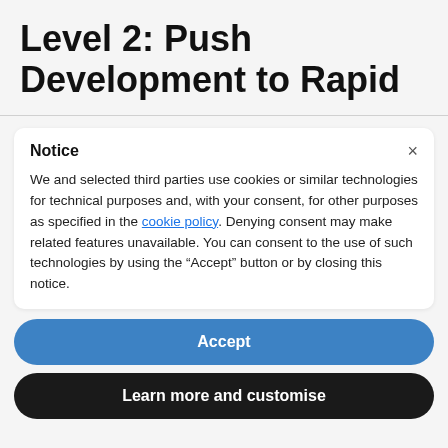Level 2: Push Development to Rapid
Notice
We and selected third parties use cookies or similar technologies for technical purposes and, with your consent, for other purposes as specified in the cookie policy. Denying consent may make related features unavailable. You can consent to the use of such technologies by using the “Accept” button or by closing this notice.
Accept
Learn more and customise